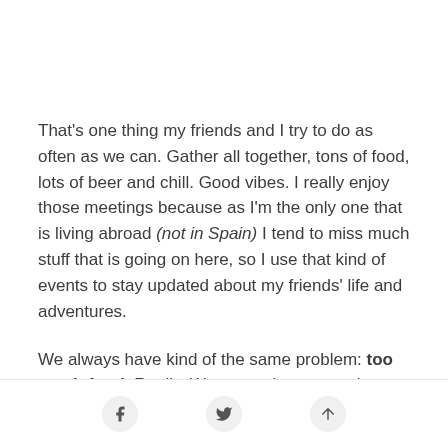That's one thing my friends and I try to do as often as we can. Gather all together, tons of food, lots of beer and chill. Good vibes. I really enjoy those meetings because as I'm the only one that is living abroad (not in Spain) I tend to miss much stuff that is going on here, so I use that kind of events to stay updated about my friends' life and adventures.
We always have kind of the same problem: too much food. Really. We try our best to not buy much more than needed, but we never succeed
share icons: facebook, twitter, up-arrow